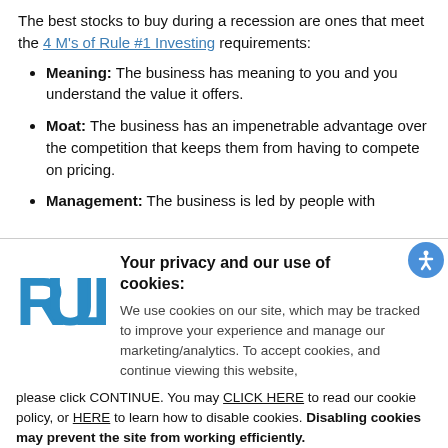The best stocks to buy during a recession are ones that meet the 4 M's of Rule #1 Investing requirements:
Meaning: The business has meaning to you and you understand the value it offers.
Moat: The business has an impenetrable advantage over the competition that keeps them from having to compete on pricing.
Management: The business is led by people with
Your privacy and our use of cookies: We use cookies on our site, which may be tracked to improve your experience and manage our marketing/analytics. To accept cookies, and continue viewing this website, please click CONTINUE. You may CLICK HERE to read our cookie policy, or HERE to learn how to disable cookies. Disabling cookies may prevent the site from working efficiently.
[Figure (logo): RULE logo in bold blue blocky text]
Continue